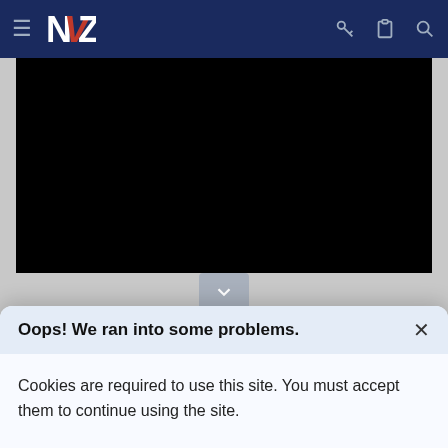[Figure (screenshot): Website navigation bar with dark navy background, hamburger menu icon, NZ logo (white N with red/blue V), and right-side icons for key, clipboard, and search]
[Figure (other): Black video player area]
[Figure (other): Scroll down chevron button in grey]
lolcaeks and mt.wellington
Reply
Oops! We ran into some problems.
Cookies are required to use this site. You must accept them to continue using the site.